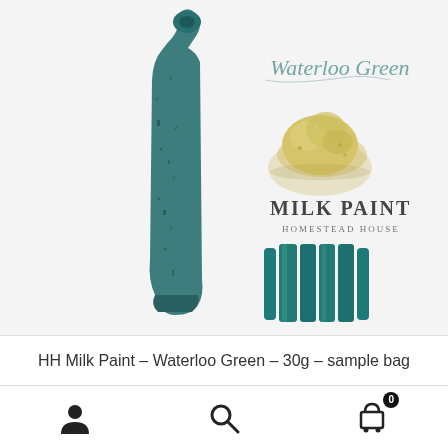[Figure (photo): Product photo showing Waterloo Green milk paint items: a teal-painted decorative wooden piece on the left, a pile of golden powder pigment in the center, a Milk Paint Homestead House label/card, and a teal painted molding strip below. The text 'Waterloo Green' is written in cursive script in teal color at the top right of the image.]
HH Milk Paint – Waterloo Green – 30g – sample bag
[Figure (infographic): Bottom navigation bar with three icons: user/person icon on the left, search/magnifying glass icon in the center, and shopping cart icon with badge showing '0' on the right.]